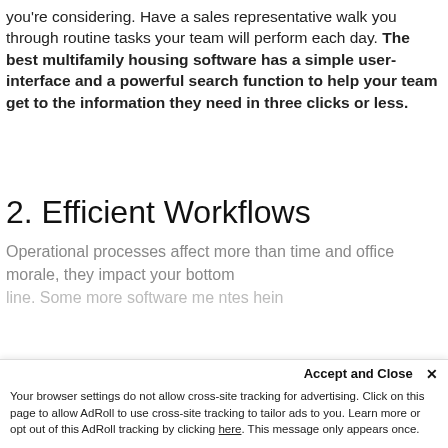you're considering. Have a sales representative walk you through routine tasks your team will perform each day. The best multifamily housing software has a simple user-interface and a powerful search function to help your team get to the information they need in three clicks or less.
2. Efficient Workflows
Operational processes affect more than time and office morale, they impact your bottom line. Some more software me ntes hein...
Accept and Close ×
Your browser settings do not allow cross-site tracking for advertising. Click on this page to allow AdRoll to use cross-site tracking to tailor ads to you. Learn more or opt out of this AdRoll tracking by clicking here. This message only appears once.